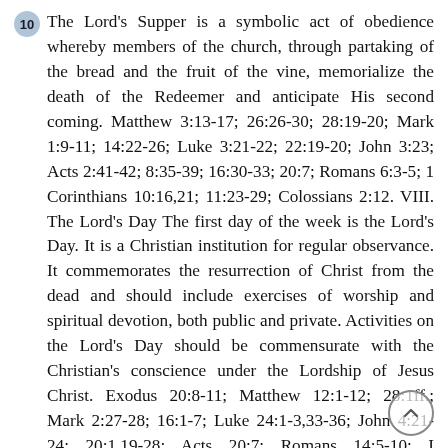10 The Lord's Supper is a symbolic act of obedience whereby members of the church, through partaking of the bread and the fruit of the vine, memorialize the death of the Redeemer and anticipate His second coming. Matthew 3:13-17; 26:26-30; 28:19-20; Mark 1:9-11; 14:22-26; Luke 3:21-22; 22:19-20; John 3:23; Acts 2:41-42; 8:35-39; 16:30-33; 20:7; Romans 6:3-5; 1 Corinthians 10:16,21; 11:23-29; Colossians 2:12. VIII. The Lord's Day The first day of the week is the Lord's Day. It is a Christian institution for regular observance. It commemorates the resurrection of Christ from the dead and should include exercises of worship and spiritual devotion, both public and private. Activities on the Lord's Day should be commensurate with the Christian's conscience under the Lordship of Jesus Christ. Exodus 20:8-11; Matthew 12:1-12; 28:1ff.; Mark 2:27-28; 16:1-7; Luke 24:1-3,33-36; John 4:21-24; 20:1,19-28; Acts 20:7; Romans 14:5-10; I Corinthians 16:1-2; Colossians 2:16; 3:16; Revelation 1:10. IX. The Kingdom The Kingdom of God includes both His general sovereignty over the universe and His particular kingship over men who willfully acknowledge Him as King. Particularly the Kingdom is the realm of salvation into which men enter by trustful, childlike commitment to Jesus Christ. Christians ought to